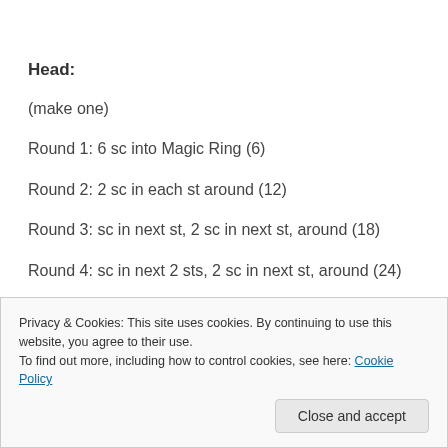Head:
(make one)
Round 1: 6 sc into Magic Ring (6)
Round 2: 2 sc in each st around (12)
Round 3: sc in next st, 2 sc in next st, around (18)
Round 4: sc in next 2 sts, 2 sc in next st, around (24)
Round 7: sc in next 5 sts, 2 sc in next st, around (42)
Privacy & Cookies: This site uses cookies. By continuing to use this website, you agree to their use.
To find out more, including how to control cookies, see here: Cookie Policy